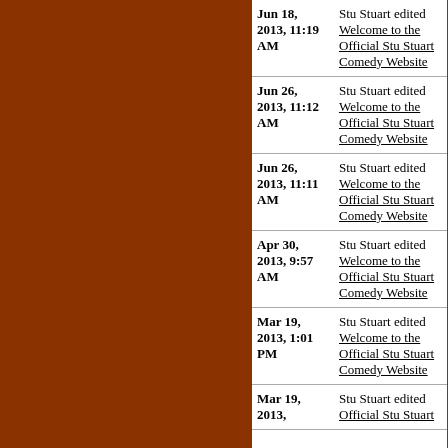| Date | Action |
| --- | --- |
| Jun 18, 2013, 11:19 AM | Stu Stuart edited Welcome to the Official Stu Stuart Comedy Website |
| Jun 26, 2013, 11:12 AM | Stu Stuart edited Welcome to the Official Stu Stuart Comedy Website |
| Jun 26, 2013, 11:11 AM | Stu Stuart edited Welcome to the Official Stu Stuart Comedy Website |
| Apr 30, 2013, 9:57 AM | Stu Stuart edited Welcome to the Official Stu Stuart Comedy Website |
| Mar 19, 2013, 1:01 PM | Stu Stuart edited Welcome to the Official Stu Stuart Comedy Website |
| Mar 19, 2013, ... | Stu Stuart edited Welcome to the Official Stu Stuart Comedy Website |